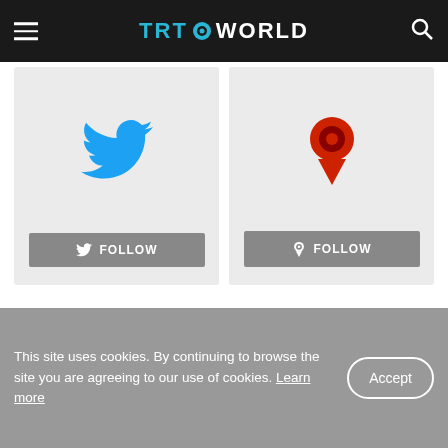TRT WORLD
[Figure (logo): Twitter bird icon with FOLLOW button on grey card]
[Figure (logo): Periscope/map pin icon with FOLLOW button on grey card]
[Figure (logo): TRT WORLD large logo in dark footer section]
TRT World
Watch Live
This site uses cookies. By continuing to browse the site you are agreeing to our use of cookies. Learn more